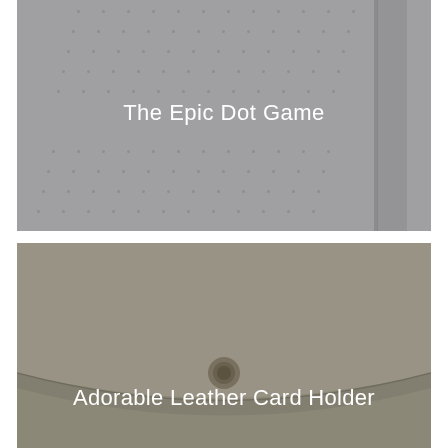[Figure (photo): Close-up photo of a gray/light perforated dot-pattern surface (notebook or book cover) with a diagonal spine visible on the right side. Light gray tones. Text overlay reads 'The Epic Dot Game'.]
The Epic Dot Game
[Figure (photo): Close-up photo of a taupe/olive-gray smooth leather card holder with a curved flap and a round snap button closure. Text overlay reads 'Adorable Leather Card Holder'.]
Adorable Leather Card Holder